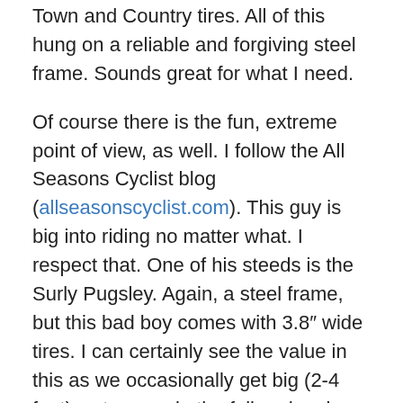Town and Country tires. All of this hung on a reliable and forgiving steel frame. Sounds great for what I need.
Of course there is the fun, extreme point of view, as well. I follow the All Seasons Cyclist blog (allseasonscyclist.com). This guy is big into riding no matter what. I respect that. One of his steeds is the Surly Pugsley. Again, a steel frame, but this bad boy comes with 3.8″ wide tires. I can certainly see the value in this as we occasionally get big (2-4 feet) wet snows in the fall and spring. It might be a bit much for everyday commuting, but would be a really good time.
I will try to stay consistent and write on Sunday nights for a while. I hope to not have any more disasters to photograph in the near future. This was enough for a while. Trust me, it helps to spend some time writing about riding, to get my mind off of the long recovery this little